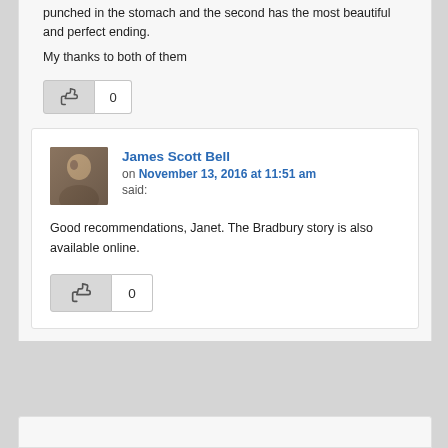punched in the stomach and the second has the most beautiful and perfect ending.
My thanks to both of them
0
James Scott Bell on November 13, 2016 at 11:51 am said:
Good recommendations, Janet. The Bradbury story is also available online.
0